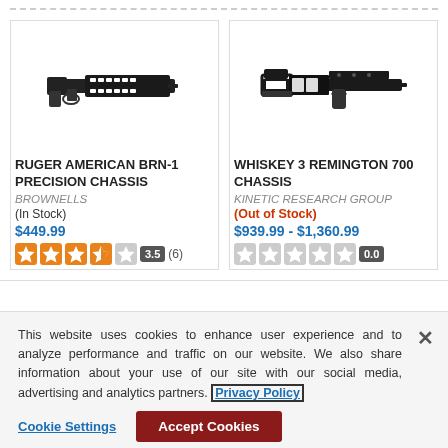[Figure (photo): Product image of Ruger American BRN-1 Precision Chassis - a black rifle chassis with M-LOK handguard]
RUGER AMERICAN BRN-1 PRECISION CHASSIS
BROWNELLS
(In Stock)
$449.99
3.5 (6)
[Figure (photo): Product image of Whiskey 3 Remington 700 Chassis - a black precision rifle chassis system]
WHISKEY 3 REMINGTON 700 CHASSIS
KINETIC RESEARCH GROUP
(Out of Stock)
$939.99 - $1,360.99
0.0
This website uses cookies to enhance user experience and to analyze performance and traffic on our website. We also share information about your use of our site with our social media, advertising and analytics partners. Privacy Policy
Cookie Settings
Accept Cookies